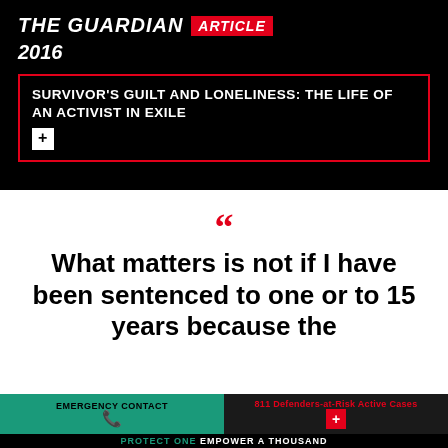THE GUARDIAN ARTICLE 2016
SURVIVOR'S GUILT AND LONELINESS: THE LIFE OF AN ACTIVIST IN EXILE
What matters is not if I have been sentenced to one or to 15 years because the
EMERGENCY CONTACT
811 Defenders-at-Risk Active Cases
PROTECT ONE EMPOWER A THOUSAND